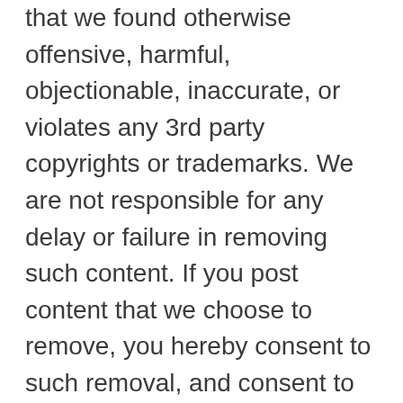that we found otherwise offensive, harmful, objectionable, inaccurate, or violates any 3rd party copyrights or trademarks. We are not responsible for any delay or failure in removing such content. If you post content that we choose to remove, you hereby consent to such removal, and consent to waive any claim against us.
h. We do not assume any liability for any content posted by you or any other 3rd party users of our website. However, any content posted by you